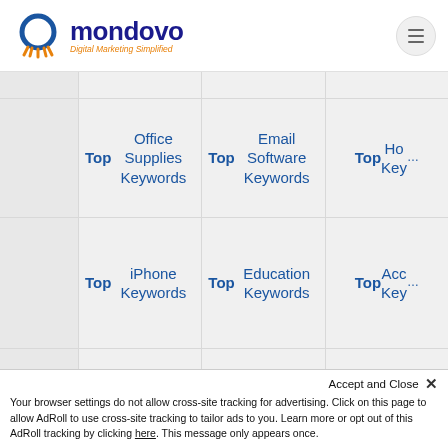mondovo - Digital Marketing Simplified
|  | Col1 | Col2 | Col3 |
| --- | --- | --- | --- |
|  | Top Office Supplies Keywords | Top Email Software Keywords | Top Hosting Keywords |
|  | Top iPhone Keywords | Top Education Keywords | Top Accounting Keywords |
|  | Top Internet Security Keywords | Top Aerospace Keywords | Top Insurance Keywords |
Accept and Close ×
Your browser settings do not allow cross-site tracking for advertising. Click on this page to allow AdRoll to use cross-site tracking to tailor ads to you. Learn more or opt out of this AdRoll tracking by clicking here. This message only appears once.